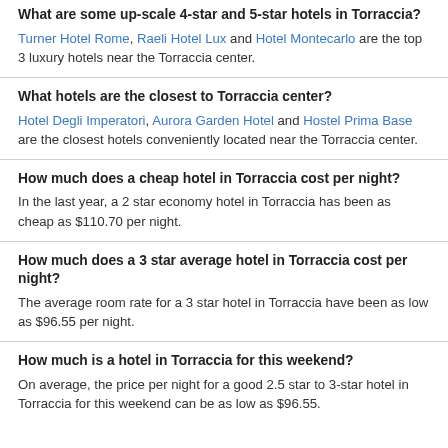What are some up-scale 4-star and 5-star hotels in Torraccia? Turner Hotel Rome, Raeli Hotel Lux and Hotel Montecarlo are the top 3 luxury hotels near the Torraccia center.
What hotels are the closest to Torraccia center? Hotel Degli Imperatori, Aurora Garden Hotel and Hostel Prima Base are the closest hotels conveniently located near the Torraccia center.
How much does a cheap hotel in Torraccia cost per night? In the last year, a 2 star economy hotel in Torraccia has been as cheap as $110.70 per night.
How much does a 3 star average hotel in Torraccia cost per night? The average room rate for a 3 star hotel in Torraccia have been as low as $96.55 per night.
How much is a hotel in Torraccia for this weekend? On average, the price per night for a good 2.5 star to 3-star hotel in Torraccia for this weekend can be as low as $96.55.